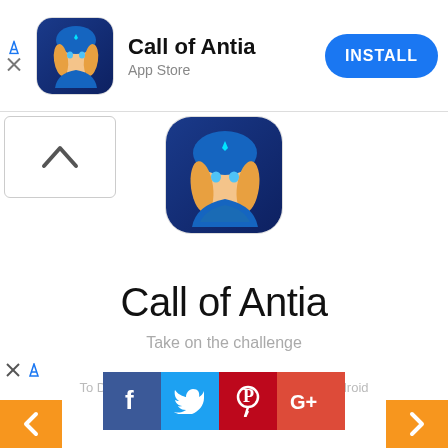[Figure (screenshot): Top advertisement banner for 'Call of Antia' app showing app icon, title, 'App Store' label, and a blue INSTALL button]
[Figure (screenshot): White box with chevron up (^) symbol in top-left area below the ad banner]
[Figure (illustration): Call of Antia app icon centered below the ad banner - fantasy female character in blue hood]
Call of Antia
Take on the challenge
App Store
[Figure (screenshot): Gray chevron-up button in lower right]
[Figure (screenshot): Blue INSTALL button]
[Figure (screenshot): Bottom navigation with social media icons (Facebook, Twitter, Pinterest, Google+), orange nav arrows, and partially visible text about Android emulator]
To Download be... users need to install an Android ...player. With